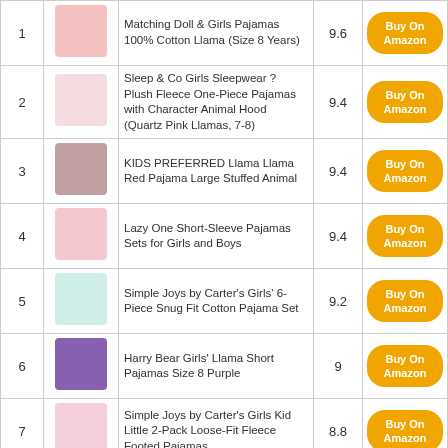| # | Image | Product Name | Score | Link |
| --- | --- | --- | --- | --- |
| 1 | [img] | Matching Doll & Girls Pajamas 100% Cotton Llama (Size 8 Years) | 9.6 | Buy On Amazon |
| 2 | [img] | Sleep & Co Girls Sleepwear ? Plush Fleece One-Piece Pajamas with Character Animal Hood (Quartz Pink Llamas, 7-8) | 9.4 | Buy On Amazon |
| 3 | [img] | KIDS PREFERRED Llama Llama Red Pajama Large Stuffed Animal | 9.4 | Buy On Amazon |
| 4 | [img] | Lazy One Short-Sleeve Pajamas Sets for Girls and Boys | 9.4 | Buy On Amazon |
| 5 | [img] | Simple Joys by Carter's Girls' 6-Piece Snug Fit Cotton Pajama Set | 9.2 | Buy On Amazon |
| 6 | [img] | Harry Bear Girls' Llama Short Pajamas Size 8 Purple | 9 | Buy On Amazon |
| 7 | [img] | Simple Joys by Carter's Girls Kid Little 2-Pack Loose-Fit Fleece Footed Pajamas | 8.8 | Buy On Amazon |
| 8 | [img] | The Children's Place Girls' Llama |  | Buy On Amazon |